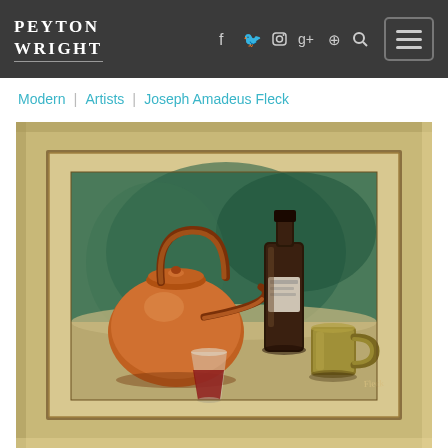PEYTON WRIGHT
Modern | Artists | Joseph Amadeus Fleck
[Figure (photo): Oil painting in a gold frame depicting a still life with a copper teakettle, dark glass bottle, small drinking glass with red liquid, and a brass mug, against a green background, signed 'Fleck' at lower right.]